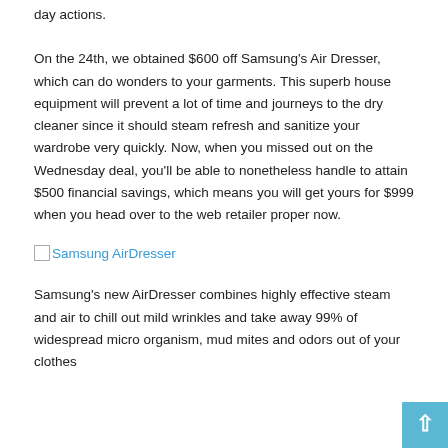day actions.
On the 24th, we obtained $600 off Samsung's Air Dresser, which can do wonders to your garments. This superb house equipment will prevent a lot of time and journeys to the dry cleaner since it should steam refresh and sanitize your wardrobe very quickly. Now, when you missed out on the Wednesday deal, you'll be able to nonetheless handle to attain $500 financial savings, which means you will get yours for $999 when you head over to the web retailer proper now.
[Figure (other): Samsung AirDresser product image placeholder with alt text 'Samsung AirDresser']
Samsung's new AirDresser combines highly effective steam and air to chill out mild wrinkles and take away 99% of widespread micro organism, mud mites and odors out of your clothes